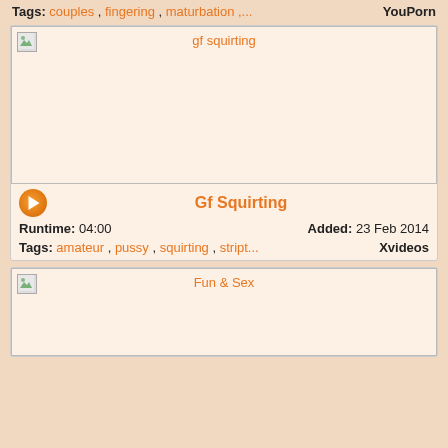Tags: couples , fingering , maturbation ,....    YouPorn
[Figure (screenshot): Video thumbnail placeholder for 'gf squirting' with broken image icon in top-left corner]
Gf Squirting
Runtime: 04:00    Added: 23 Feb 2014
Tags: amateur , pussy , squirting , stript...    Xvideos
[Figure (screenshot): Video thumbnail placeholder for 'Fun & Sex' with broken image icon in top-left corner]